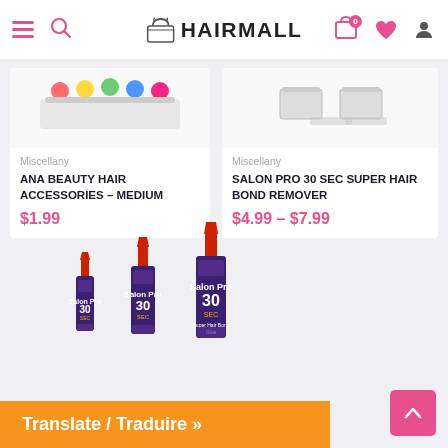HAIRMALL
[Figure (photo): Product image of Ana Beauty Hair Accessories – Medium, colorful hair clips]
Miscellany
ANA BEAUTY HAIR ACCESSORIES – MEDIUM
$1.99
[Figure (photo): Product image of Salon Pro 30 Sec Super Hair Bond Remover, white containers]
Miscellany
SALON PRO 30 SEC SUPER HAIR BOND REMOVER
$4.99 – $7.99
[Figure (photo): Three bottles of Salon Pro 30 SEC Super Hair Bond Glue of different sizes with red caps and purple labels]
Translate / Traduire »